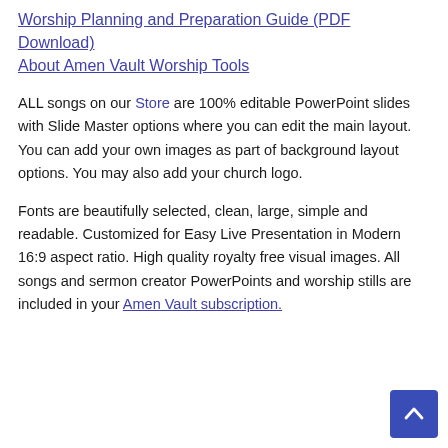Worship Planning and Preparation Guide (PDF Download)
About Amen Vault Worship Tools
ALL songs on our Store are 100% editable PowerPoint slides with Slide Master options where you can edit the main layout. You can add your own images as part of background layout options. You may also add your church logo.
Fonts are beautifully selected, clean, large, simple and readable. Customized for Easy Live Presentation in Modern 16:9 aspect ratio. High quality royalty free visual images. All songs and sermon creator PowerPoints and worship stills are included in your Amen Vault subscription.